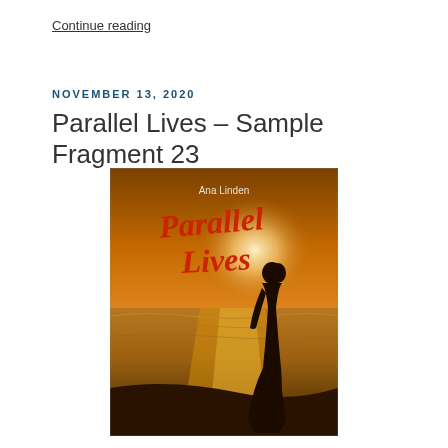Continue reading
NOVEMBER 13, 2020
Parallel Lives – Sample Fragment 23
[Figure (photo): Book cover of 'Parallel Lives' by Ana Linden. Shows a silhouette of a woman standing on a beach at sunset with dramatic golden light reflecting off the water. The title 'Parallel Lives' is written in red cursive script across the top portion of the image, and the author name 'Ana Linden' appears in small text above the title.]